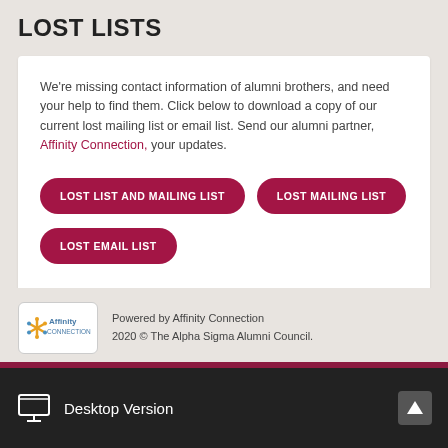LOST LISTS
We're missing contact information of alumni brothers, and need your help to find them. Click below to download a copy of our current lost mailing list or email list. Send our alumni partner, Affinity Connection, your updates.
LOST LIST AND MAILING LIST
LOST MAILING LIST
LOST EMAIL LIST
Powered by Affinity Connection
2020 © The Alpha Sigma Alumni Council.
Desktop Version